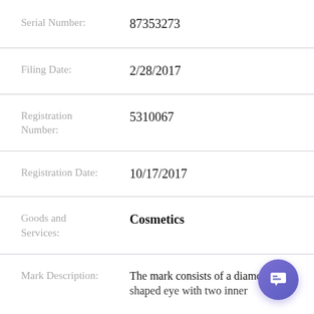Serial Number: 87353273
Filing Date: 2/28/2017
Registration Number: 5310067
Registration Date: 10/17/2017
Goods and Services: Cosmetics
Mark Description: The mark consists of a diamond shaped eye with two inner